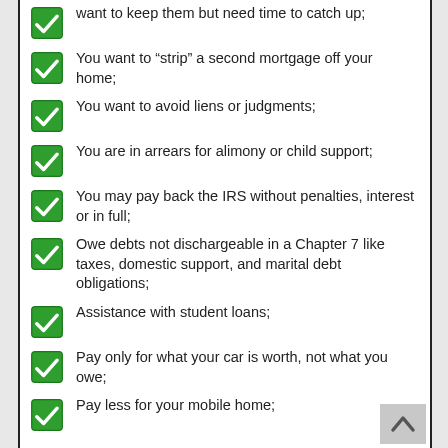want to keep them but need time to catch up;
You want to “strip” a second mortgage off your home;
You want to avoid liens or judgments;
You are in arrears for alimony or child support;
You may pay back the IRS without penalties, interest or in full;
Owe debts not dischargeable in a Chapter 7 like taxes, domestic support, and marital debt obligations;
Assistance with student loans;
Pay only for what your car is worth, not what you owe;
Pay less for your mobile home;